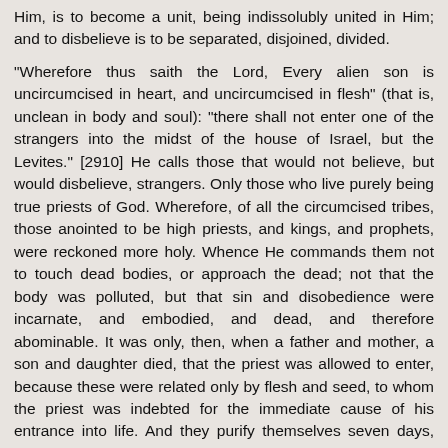Him, is to become a unit, being indissolubly united in Him; and to disbelieve is to be separated, disjoined, divided.
"Wherefore thus saith the Lord, Every alien son is uncircumcised in heart, and uncircumcised in flesh" (that is, unclean in body and soul): "there shall not enter one of the strangers into the midst of the house of Israel, but the Levites." [2910] He calls those that would not believe, but would disbelieve, strangers. Only those who live purely being true priests of God. Wherefore, of all the circumcised tribes, those anointed to be high priests, and kings, and prophets, were reckoned more holy. Whence He commands them not to touch dead bodies, or approach the dead; not that the body was polluted, but that sin and disobedience were incarnate, and embodied, and dead, and therefore abominable. It was only, then, when a father and mother, a son and daughter died, that the priest was allowed to enter, because these were related only by flesh and seed, to whom the priest was indebted for the immediate cause of his entrance into life. And they purify themselves seven days, the period in which Creation was consummated. For on the seventh day the rest is celebrated; and on the eighth he brings a propitiation, as is written in Ezekiel, according to which propitiation the promise is to be received. [2911] And the perfect propitiation, I take it, is that propitious faith in the